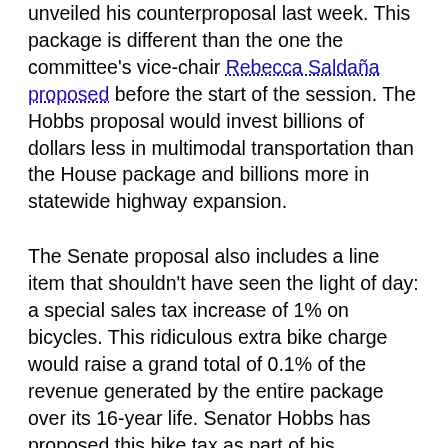unveiled his counterproposal last week. This package is different than the one the committee's vice-chair Rebecca Saldaña proposed before the start of the session. The Hobbs proposal would invest billions of dollars less in multimodal transportation than the House package and billions more in statewide highway expansion.
The Senate proposal also includes a line item that shouldn't have seen the light of day: a special sales tax increase of 1% on bicycles. This ridiculous extra bike charge would raise a grand total of 0.1% of the revenue generated by the entire package over its 16-year life. Senator Hobbs has proposed this bike tax as part of his transportation package during the last two legislative sessions as well, but there hasn't been enough momentum to pass it in recent years and no significant counterproposal. A "symbolic" bike tax has actually been